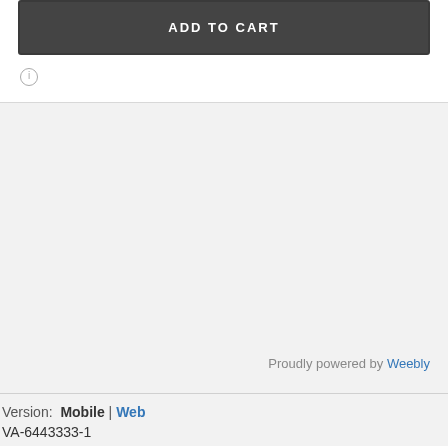ADD TO CART
ⓘ
Proudly powered by Weebly
Version: Mobile | Web
VA-6443333-1